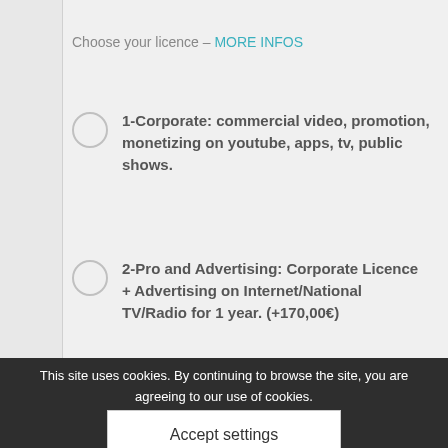Choose your licence – MORE INFOS
1-Corporate: commercial video, promotion, monetizing on youtube, apps, tv, public shows.
2-Pro and Advertising: Corporate Licence + Advertising on Internet/National TV/Radio for 1 year. (+170,00€)
3-Pro and Advertising + Wordwide and lifetime use (+470,00€)
1x Lounge Cafe    19,00€
Subtotal 19,00€ (ex. Vat)
This site uses cookies. By continuing to browse the site, you are agreeing to our use of cookies.
Accept settings